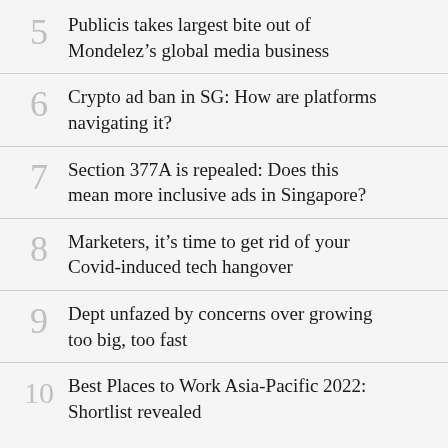5 Publicis takes largest bite out of Mondelez’s global media business
6 Crypto ad ban in SG: How are platforms navigating it?
7 Section 377A is repealed: Does this mean more inclusive ads in Singapore?
8 Marketers, it’s time to get rid of your Covid-induced tech hangover
9 Dept unfazed by concerns over growing too big, too fast
10 Best Places to Work Asia-Pacific 2022: Shortlist revealed